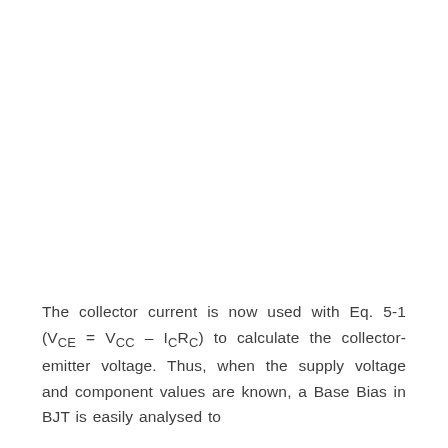The collector current is now used with Eq. 5-1 (VCE = VCC – ICRC) to calculate the collector-emitter voltage. Thus, when the supply voltage and component values are known, a Base Bias in BJT is easily analysed to